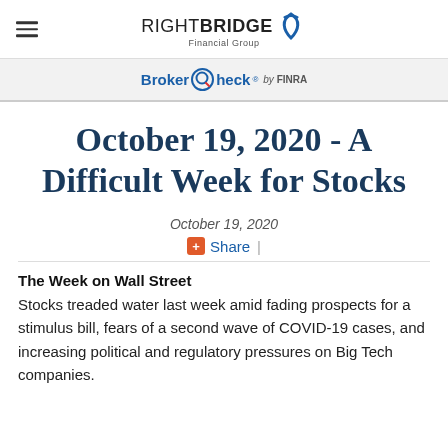RightBridge Financial Group
[Figure (logo): RightBridge Financial Group logo with hamburger menu icon on left and BrokerCheck by FINRA bar below]
October 19, 2020 - A Difficult Week for Stocks
October 19, 2020
+ Share |
The Week on Wall Street
Stocks treaded water last week amid fading prospects for a stimulus bill, fears of a second wave of COVID-19 cases, and increasing political and regulatory pressures on Big Tech companies.